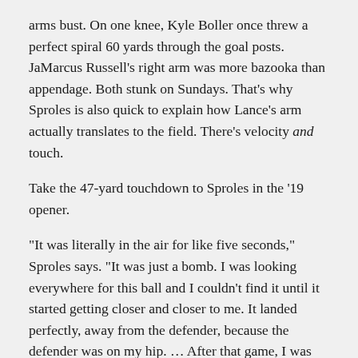arms bust. On one knee, Kyle Boller once threw a perfect spiral 60 yards through the goal posts. JaMarcus Russell's right arm was more bazooka than appendage. Both stunk on Sundays. That's why Sproles is also quick to explain how Lance's arm actually translates to the field. There's velocity and touch.
Take the 47-yard touchdown to Sproles in the '19 opener.
“It was literally in the air for like five seconds,” Sproles says. “It was just a bomb. I was looking everywhere for this ball and I couldn’t find it until it started getting closer and closer to me. It landed perfectly, away from the defender, because the defender was on my hip. … After that game, I was like ‘We’re going to have a fun season.’ And we ended up winning the national championship that year.”